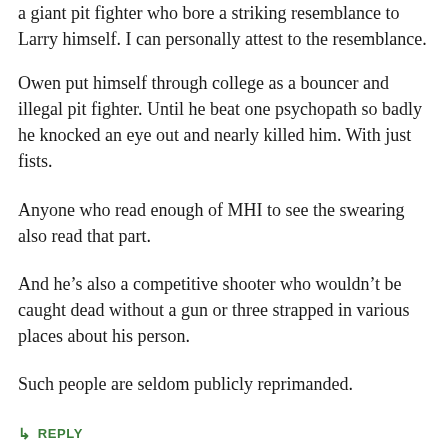a giant pit fighter who bore a striking resemblance to Larry himself. I can personally attest to the resemblance.
Owen put himself through college as a bouncer and illegal pit fighter. Until he beat one psychopath so badly he knocked an eye out and nearly killed him. With just fists.
Anyone who read enough of MHI to see the swearing also read that part.
And he’s also a competitive shooter who wouldn’t be caught dead without a gun or three strapped in various places about his person.
Such people are seldom publicly reprimanded.
↳ REPLY